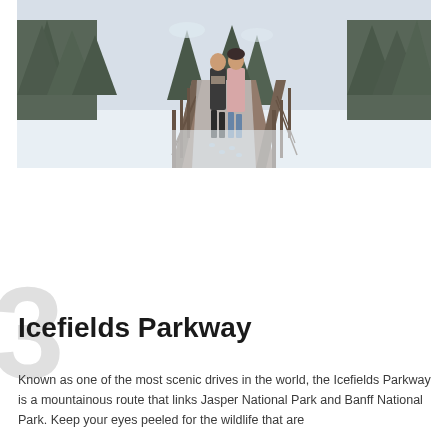[Figure (photo): A couple walking on a snow-covered wooden boardwalk or bridge in a winter landscape. Tall snow-dusted evergreen trees line the background. The person on the left wears a dark coat and scarf, the person on the right wears a light pink coat and dark fur hat. Snow covers the ground and railing.]
Icefields Parkway
Known as one of the most scenic drives in the world, the Icefields Parkway is a mountainous route that links Jasper National Park and Banff National Park. Keep your eyes peeled for the wildlife that are